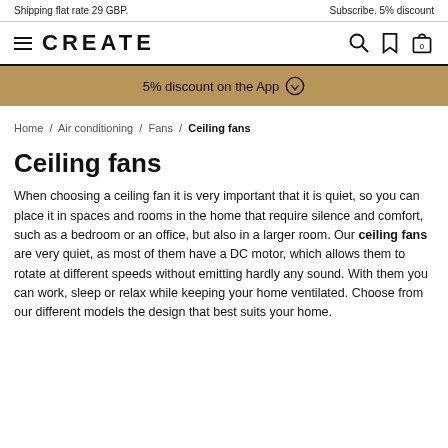Shipping flat rate 29 GBP.    Subscribe. 5% discount
[Figure (logo): CREATE brand logo with hamburger menu icon and navigation icons (search, bookmark, cart with 0)]
5% discount on the App
Home / Air conditioning / Fans / Ceiling fans
Ceiling fans
When choosing a ceiling fan it is very important that it is quiet, so you can place it in spaces and rooms in the home that require silence and comfort, such as a bedroom or an office, but also in a larger room. Our ceiling fans are very quiet, as most of them have a DC motor, which allows them to rotate at different speeds without emitting hardly any sound. With them you can work, sleep or relax while keeping your home ventilated. Choose from our different models the design that best suits your home.